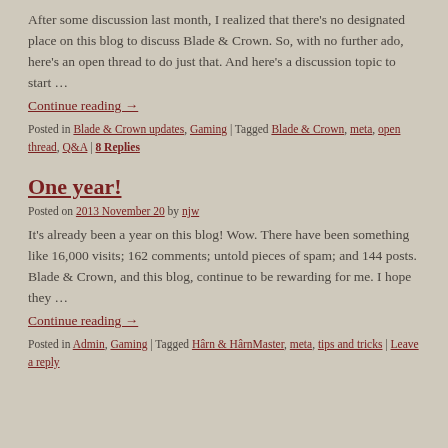After some discussion last month, I realized that there's no designated place on this blog to discuss Blade & Crown. So, with no further ado, here's an open thread to do just that. And here's a discussion topic to start …
Continue reading →
Posted in Blade & Crown updates, Gaming | Tagged Blade & Crown, meta, open thread, Q&A | 8 Replies
One year!
Posted on 2013 November 20 by njw
It's already been a year on this blog! Wow. There have been something like 16,000 visits; 162 comments; untold pieces of spam; and 144 posts. Blade & Crown, and this blog, continue to be rewarding for me. I hope they …
Continue reading →
Posted in Admin, Gaming | Tagged Hârn & HârnMaster, meta, tips and tricks | Leave a reply